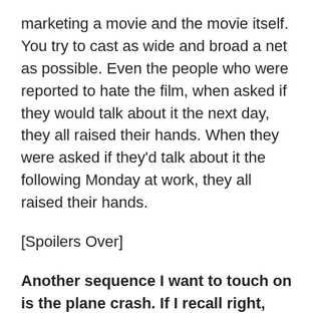marketing a movie and the movie itself. You try to cast as wide and broad a net as possible. Even the people who were reported to hate the film, when asked if they would talk about it the next day, they all raised their hands. When they were asked if they'd talk about it the following Monday at work, they all raised their hands.
[Spoilers Over]
Another sequence I want to touch on is the plane crash. If I recall right, you don't cut to the outside of the plane. When you think of a scene such as that, do you try to approach it in a way that goes